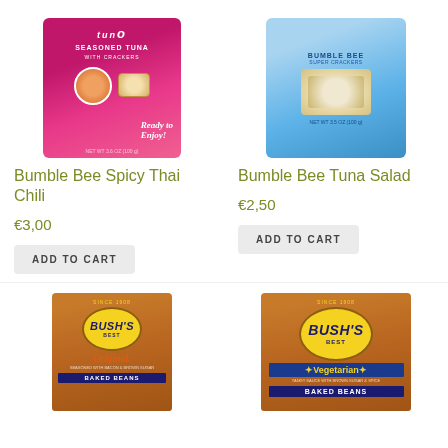[Figure (photo): Bumble Bee Seasoned Tuna with crackers product package, pink/magenta box]
Bumble Bee Spicy Thai Chili
€3,00
ADD TO CART
[Figure (photo): Bumble Bee Tuna Salad with crackers product package, light blue box]
Bumble Bee Tuna Salad
€2,50
ADD TO CART
[Figure (photo): Bush's Best Original Baked Beans can, brown and tan label]
[Figure (photo): Bush's Best Vegetarian Baked Beans can, brown label with blue vegetarian band]